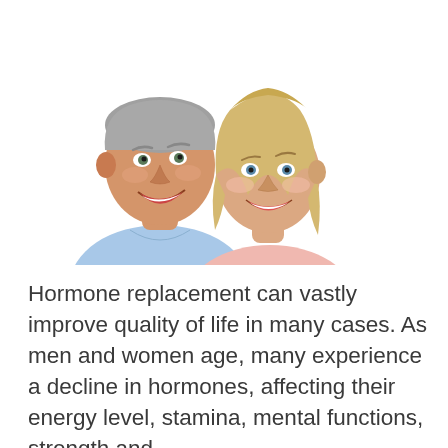[Figure (photo): An older man with grey hair wearing a light blue shirt and an older woman with blonde hair wearing a pink top, both smiling, photographed together on a white background.]
Hormone replacement can vastly improve quality of life in many cases. As men and women age, many experience a decline in hormones, affecting their energy level, stamina, mental functions, strength and